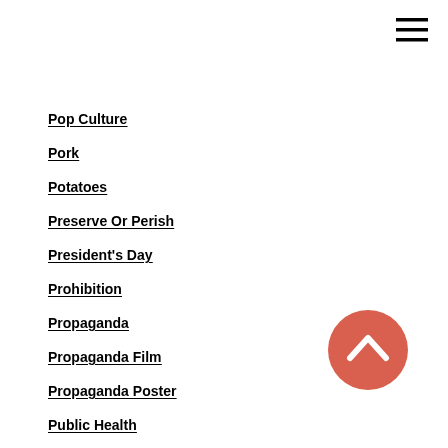[Figure (other): Hamburger menu icon (three horizontal lines) in top right corner]
Pop Culture
Pork
Potatoes
Preserve Or Perish
President's Day
Prohibition
Propaganda
Propaganda Film
Propaganda Poster
Public Health
Pumpkin
Pumpkin Pie
Pure Food And Drug Act
Queen Victoria
Quick Breads
Racism
Radio
[Figure (other): Back to top button - salmon/coral colored circle with upward chevron arrow]